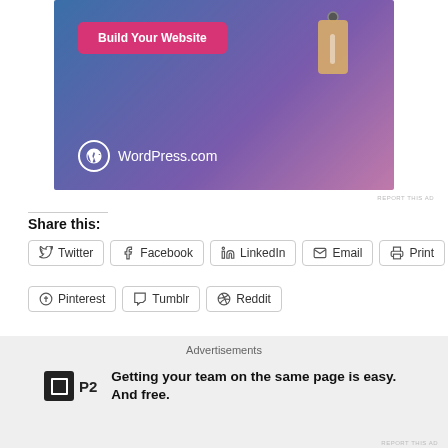[Figure (illustration): WordPress.com advertisement banner with blue-purple gradient background, a 'Build Your Website' pink button, a price tag illustration, and WordPress.com logo]
REPORT THIS AD
Share this:
Twitter
Facebook
LinkedIn
Email
Print
Pinterest
Tumblr
Reddit
Loading...
[Figure (illustration): P2 logo advertisement with text: Getting your team on the same page is easy. And free.]
Advertisements
Getting your team on the same page is easy. And free.
REPORT THIS AD